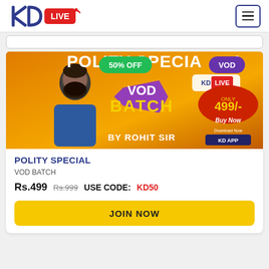KD LIVE
[Figure (illustration): Promotional banner for POLITY SPECIAL VOD BATCH by Rohit Sir. Orange background with text '50% OFF', 'POLITY SPECIAL', 'VOD BATCH', 'ONLY 499/-', 'Buy Now', 'BY ROHIT SIR', 'Download Now KD APP', 'VOD' badge, KD LIVE logo. Image shows instructor with beard in blue shirt.]
POLITY SPECIAL
VOD BATCH
Rs.499  Rs.999  USE CODE: KD50
JOIN NOW